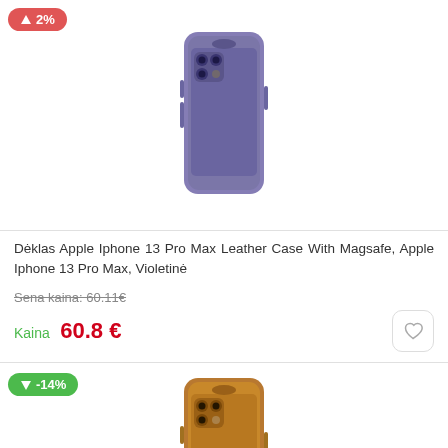[Figure (photo): Purple iPhone 13 Pro Max in a violet leather case]
↑ 2% badge (price increase indicator)
Dėklas Apple Iphone 13 Pro Max Leather Case With Magsafe, Apple Iphone 13 Pro Max, Violetinė
Sena kaina: 60.11€
Kaina  60.8 €
[Figure (photo): Tan/golden brown iPhone 13 Pro Max in a leather case]
↓ -14% badge (price decrease indicator)
Dėklas Apple Iphone 13 Pro Max Leather Case With...